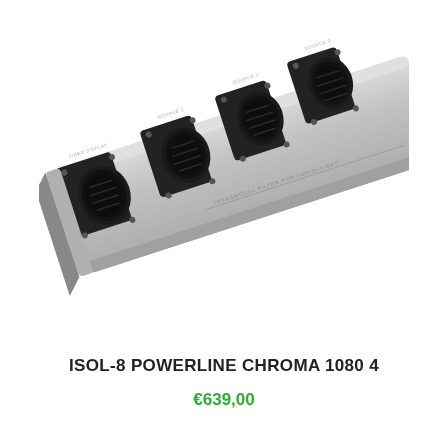[Figure (photo): Close-up photo of an ISOL-8 Powerline Chroma 1080 4 power conditioner strip showing four black circular socket covers labeled VIDEO DISPLAY, SOURCE 1, SOURCE 2, SOURCE 3, and SOURCE 1 on a brushed aluminum chassis. The text 'TRANSMODAL FILTER FOR AUDIO+VIDEO' is visible on the aluminum panel.]
ISOL-8 POWERLINE CHROMA 1080 4
€639,00